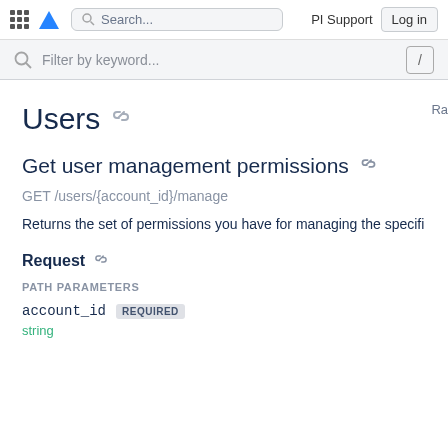⊞ [Atlassian logo] Search... | API Support Log in
Filter by keyword... /
Users 🔗
Get user management permissions 🔗
GET /users/{account_id}/manage
Returns the set of permissions you have for managing the specifi
Request 🔗
PATH PARAMETERS
account_id REQUIRED
string